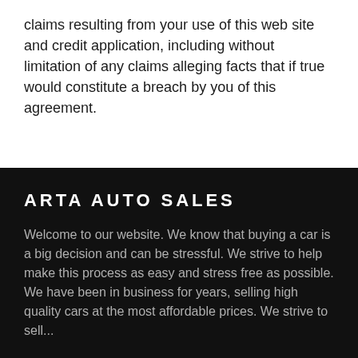claims resulting from your use of this web site and credit application, including without limitation of any claims alleging facts that if true would constitute a breach by you of this agreement.
ARTA AUTO SALES
Welcome to our website. We know that buying a car is a big decision and can be stressful. We strive to help make this process as easy and stress free as possible. We have been in business for years, selling high quality cars at the most affordable prices. We strive to sell...